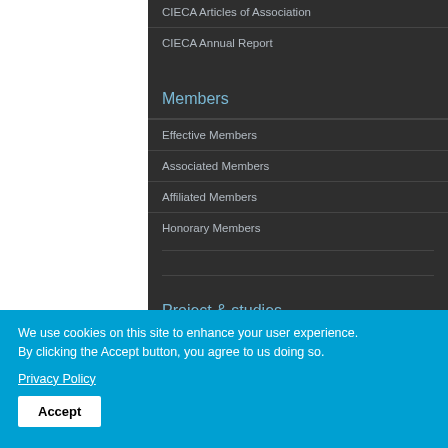CIECA Articles of Association
CIECA Annual Report
Members
Effective Members
Associated Members
Affiliated Members
Honorary Members
Project & studies
We use cookies on this site to enhance your user experience.
By clicking the Accept button, you agree to us doing so.
Privacy Policy
Accept